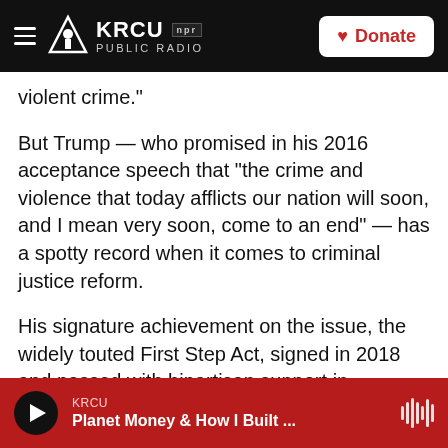KRCU NPR PUBLIC RADIO | Donate
violent crime."
But Trump — who promised in his 2016 acceptance speech that "the crime and violence that today afflicts our nation will soon, and I mean very soon, come to an end" — has a spotty record when it comes to criminal justice reform.
His signature achievement on the issue, the widely touted First Step Act, signed in 2018 and passed with bipartisan support in Congress, instituted sentencing reforms, including reducing harsh penalties for crack cocaine possession. And on
KRCU | Planet Money & How I Built ...